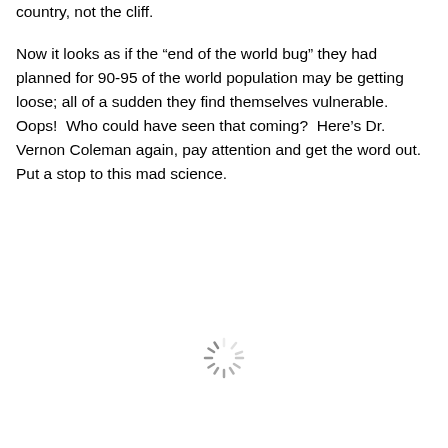country, not the cliff.

Now it looks as if the “end of the world bug” they had planned for 90-95 of the world population may be getting loose; all of a sudden they find themselves vulnerable. Oops!  Who could have seen that coming?  Here’s Dr. Vernon Coleman again, pay attention and get the word out.  Put a stop to this mad science.
[Figure (other): A loading spinner icon (circular dashed ring) centered near the bottom of the page.]